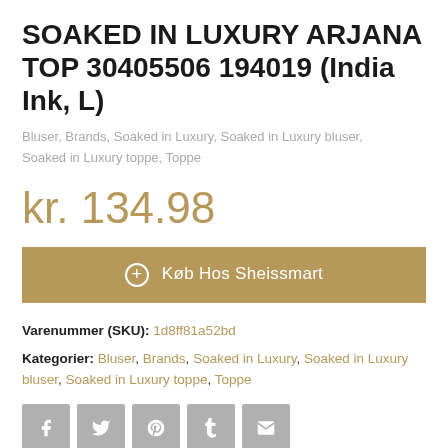SOAKED IN LUXURY ARJANA TOP 30405506 194019 (India Ink, L)
Bluser, Brands, Soaked in Luxury, Soaked in Luxury bluser, Soaked in Luxury toppe, Toppe
kr. 134.98
Køb Hos Sheissmart
Varenummer (SKU): 1d8ff81a52bd
Kategorier: Bluser, Brands, Soaked in Luxury, Soaked in Luxury bluser, Soaked in Luxury toppe, Toppe
[Figure (other): Social share icons: Facebook, Twitter, Pinterest, Tumblr, Email]